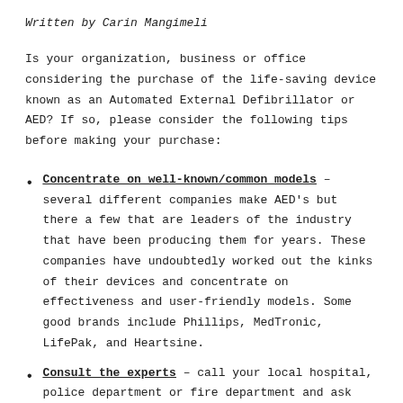Written by Carin Mangimeli
Is your organization, business or office considering the purchase of the life-saving device known as an Automated External Defibrillator or AED? If so, please consider the following tips before making your purchase:
Concentrate on well-known/common models – several different companies make AED's but there a few that are leaders of the industry that have been producing them for years. These companies have undoubtedly worked out the kinks of their devices and concentrate on effectiveness and user-friendly models. Some good brands include Phillips, MedTronic, LifePak, and Heartsine.
Consult the experts – call your local hospital, police department or fire department and ask which models